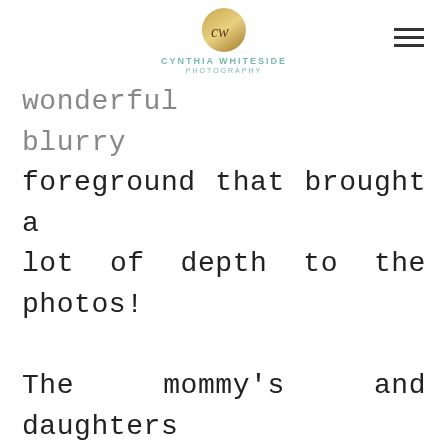CYNTHIA WHITESIDE PHOTOGRAPHY
wonderful blurry foreground that brought a lot of depth to the photos! The mommy's and daughters were so fun to work with! Quite a few came with matching outfits, which were adorable! I always love seeing children